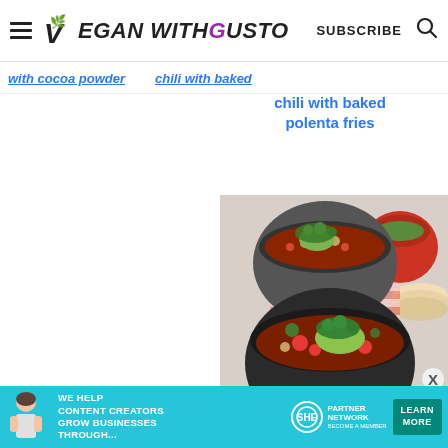Vegan With Gusto — SUBSCRIBE
with cocoa powder
chili with baked polenta fries
[Figure (photo): Two dark bowls of chili topped with guacamole and cilantro, served with tortillas and lime wedges on a red checked cloth]
X
[Figure (infographic): SHE Media Partner Network advertisement: We help content creators grow businesses through... LEARN MORE]